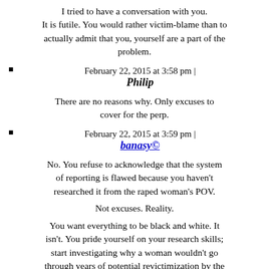I tried to have a conversation with you. It is futile. You would rather victim-blame than to actually admit that you, yourself are a part of the problem.
February 22, 2015 at 3:58 pm | Philip
There are no reasons why. Only excuses to cover for the perp.
February 22, 2015 at 3:59 pm | banasy©
No. You refuse to acknowledge that the system of reporting is flawed because you haven't researched it from the raped woman's POV.
Not excuses. Reality.
You want everything to be black and white. It isn't. You pride yourself on your research skills; start investigating why a woman wouldn't go through years of potential revictimization by the system that is supposed to protect them and